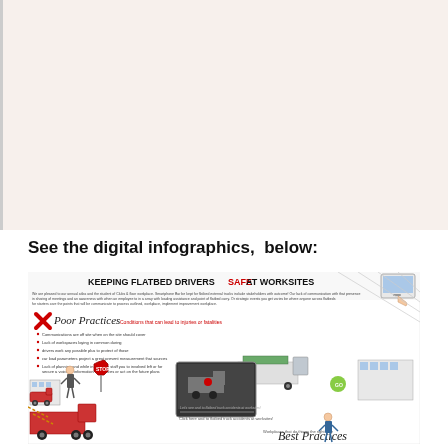[Figure (other): Blank cream/beige area representing upper portion of page with left border]
See the digital infographics,  below:
[Figure (infographic): Infographic titled 'KEEPING FLATBED DRIVERS SAFE AT WORKSITES' showing Poor Practices (conditions that can lead to injuries or fatalities) with red X mark on left side and Best Practices on right side, with illustrated scenes of flatbed trucks, workers, and worksites. Includes a central video thumbnail and various illustrated scenarios.]